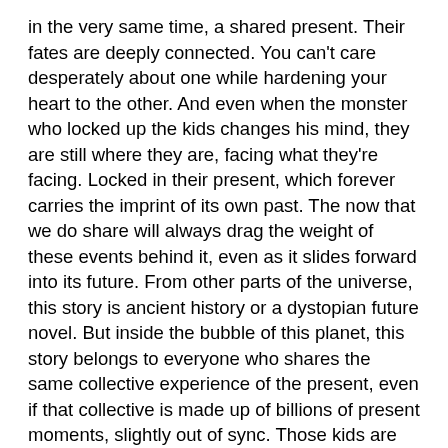in the very same time, a shared present. Their fates are deeply connected. You can't care desperately about one while hardening your heart to the other. And even when the monster who locked up the kids changes his mind, they are still where they are, facing what they're facing. Locked in their present, which forever carries the imprint of its own past. The now that we do share will always drag the weight of these events behind it, even as it slides forward into its future. From other parts of the universe, this story is ancient history or a dystopian future novel. But inside the bubble of this planet, this story belongs to everyone who shares the same collective experience of the present, even if that collective is made up of billions of present moments, slightly out of sync. Those kids are crying right now. They don't understand what's happening right now. No one will let them talk to their mom or dad right now. A scary man in a uniform is locking them up right now. Right now. Right now. We are checking our children's foreheads, making them eggs, putting pillows under their injured legs, asking what they want to drink right now. Right now. Right now.
Around 9, after doing some dishes, I went outside and